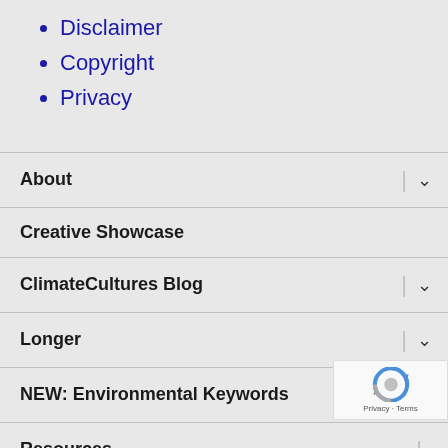Disclaimer
Copyright
Privacy
About
Creative Showcase
ClimateCultures Blog
Longer
NEW: Environmental Keywords
Resources
[Figure (logo): Google reCAPTCHA badge with logo and Privacy - Terms text]